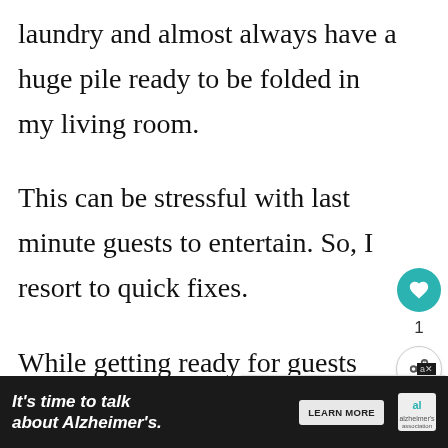laundry and almost always have a huge pile ready to be folded in my living room.
This can be stressful with last minute guests to entertain. So, I resort to quick fixes.
While getting ready for guests just throw your laundry pile into another
[Figure (other): Social interaction sidebar with heart/like button showing count of 1, and a share button]
[Figure (other): What's Next overlay showing a thumbnail and text: 'Last Minute Baby Preppi...']
[Figure (other): Alzheimer's Association advertisement banner: 'It's time to talk about Alzheimer's.' with Learn More button and logo]